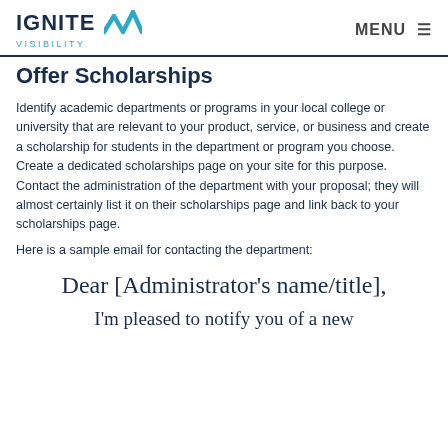IGNITE VISIBILITY | MENU
Offer Scholarships
Identify academic departments or programs in your local college or university that are relevant to your product, service, or business and create a scholarship for students in the department or program you choose. Create a dedicated scholarships page on your site for this purpose. Contact the administration of the department with your proposal; they will almost certainly list it on their scholarships page and link back to your scholarships page.
Here is a sample email for contacting the department:
Dear [Administrator's name/title],
I'm pleased to notify you of a new